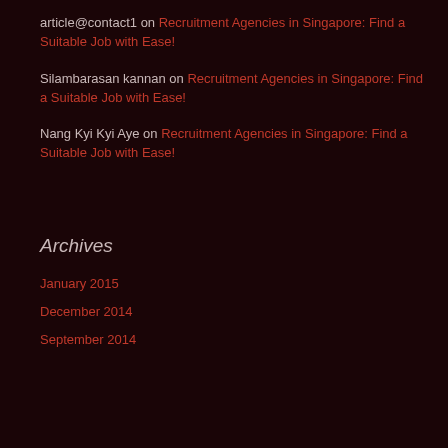article@contact1 on Recruitment Agencies in Singapore: Find a Suitable Job with Ease!
Silambarasan kannan on Recruitment Agencies in Singapore: Find a Suitable Job with Ease!
Nang Kyi Kyi Aye on Recruitment Agencies in Singapore: Find a Suitable Job with Ease!
Archives
January 2015
December 2014
September 2014